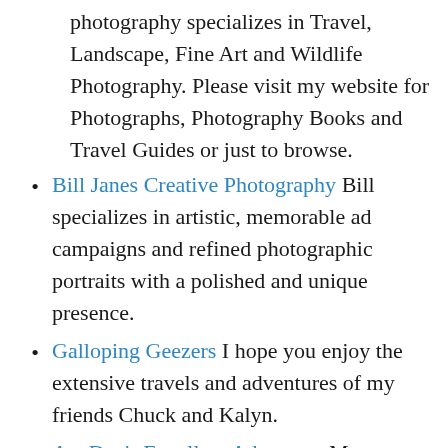photography specializes in Travel, Landscape, Fine Art and Wildlife Photography. Please visit my website for Photographs, Photography Books and Travel Guides or just to browse.
Bill Janes Creative Photography Bill specializes in artistic, memorable ad campaigns and refined photographic portraits with a polished and unique presence.
Galloping Geezers I hope you enjoy the extensive travels and adventures of my friends Chuck and Kalyn.
AcuDoc's Excellent Adventure My career as an "Acupuncturist at Sea" working on various cruise ships around the world.